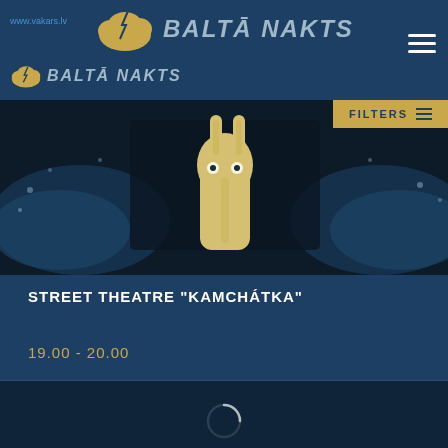BALTA NAKTS / Balta Nakts - website header with logo and navigation
[Figure (screenshot): Hero image showing a rabbit/bunny puppet character made of beige/yellow material with dot eyes, standing upright, with water splashing around it in a dark background]
STREET THEATRE "KAMCHÁTKA"
19.00 - 20.00